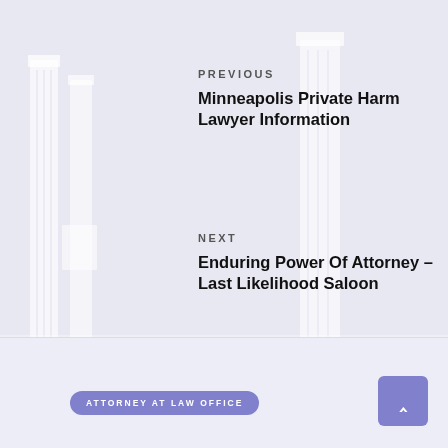PREVIOUS
Minneapolis Private Harm Lawyer Information
NEXT
Enduring Power Of Attorney – Last Likelihood Saloon
Related posts
ATTORNEY AT LAW OFFICE